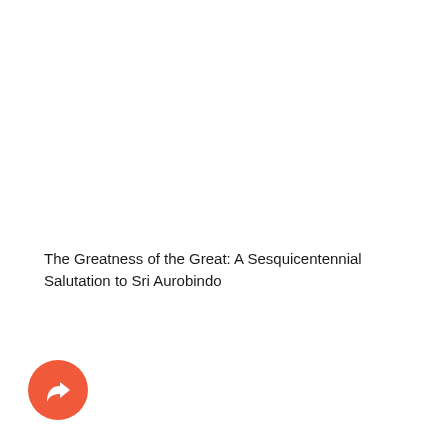The Greatness of the Great: A Sesquicentennial Salutation to Sri Aurobindo
[Figure (other): A circular orange/red button icon with a white forward/share arrow symbol in the center, located in the bottom-left corner of the page.]